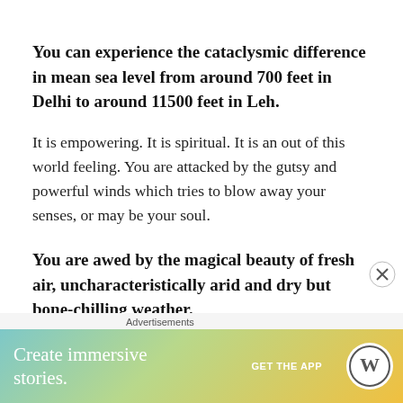You can experience the cataclysmic difference in mean sea level from around 700 feet in Delhi to around 11500 feet in Leh.
It is empowering. It is spiritual. It is an out of this world feeling. You are attacked by the gutsy and powerful winds which tries to blow away your senses, or may be your soul.
You are awed by the magical beauty of fresh air, uncharacteristically arid and dry but bone-chilling weather.
Wise people say that do not hurry in mountains. Small steps on an uphill track can help you in exploring more...